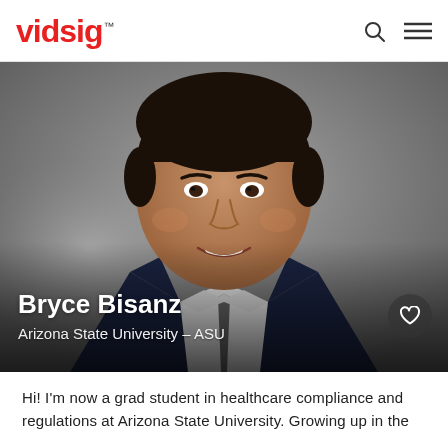vidsig
[Figure (photo): Professional headshot of Bryce Bisanz, a young man smiling, wearing a dark navy suit with a grey tie and white dress shirt, against a grey blurred background. Text overlay shows name and university affiliation.]
Bryce Bisanz
Arizona State University – ASU
Hi! I'm now a grad student in healthcare compliance and regulations at Arizona State University. Growing up in the